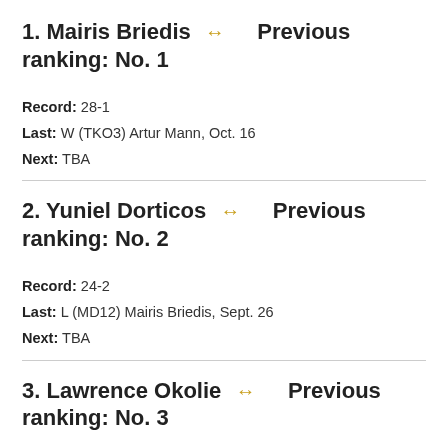1. Mairis Briedis ↔ Previous ranking: No. 1
Record: 28-1
Last: W (TKO3) Artur Mann, Oct. 16
Next: TBA
2. Yuniel Dorticos ↔ Previous ranking: No. 2
Record: 24-2
Last: L (MD12) Mairis Briedis, Sept. 26
Next: TBA
3. Lawrence Okolie ↔ Previous ranking: No. 3
Record: 17-0